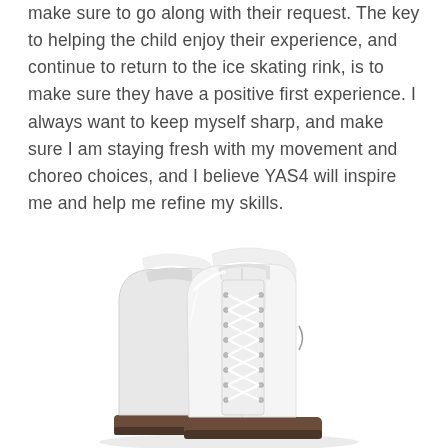make sure to go along with their request. The key to helping the child enjoy their experience, and continue to return to the ice skating rink, is to make sure they have a positive first experience. I always want to keep myself sharp, and make sure I am staying fresh with my movement and choreo choices, and I believe YAS4 will inspire me and help me refine my skills.
[Figure (photo): White figure ice skating boot with laces, shown from the side/front angle, with a brown heel/blade mount at the bottom.]